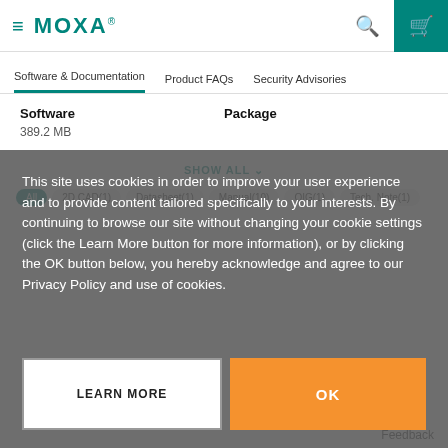MOXA - Software & Documentation | Product FAQs | Security Advisories
| Software | Package |
| --- | --- |
| 389.2 MB |  |
This site uses cookies in order to improve your user experience and to provide content tailored specifically to your interests. By continuing to browse our site without changing your cookie settings (click the Learn More button for more information), or by clicking the OK button below, you hereby acknowledge and agree to our Privacy Policy and use of cookies.
LEARN MORE
OK
Feedback